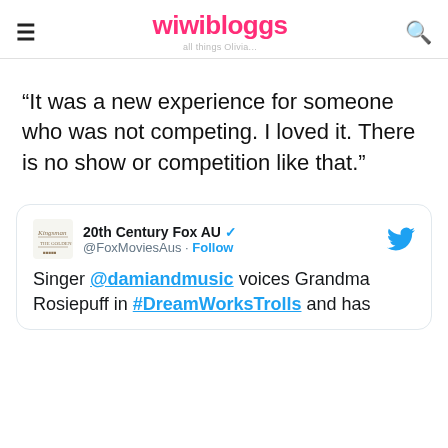wiwibloggs
"It was a new experience for someone who was not competing. I loved it. There is no show or competition like that."
[Figure (screenshot): Embedded tweet from 20th Century Fox AU (@FoxMoviesAus) with Follow button. Tweet text: Singer @damiandmusic voices Grandma Rosiepuff in #DreamWorksTrolls and has ...]